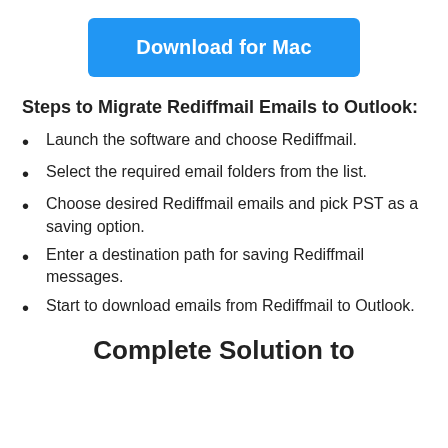[Figure (other): Blue 'Download for Mac' button]
Steps to Migrate Rediffmail Emails to Outlook:
Launch the software and choose Rediffmail.
Select the required email folders from the list.
Choose desired Rediffmail emails and pick PST as a saving option.
Enter a destination path for saving Rediffmail messages.
Start to download emails from Rediffmail to Outlook.
Complete Solution to